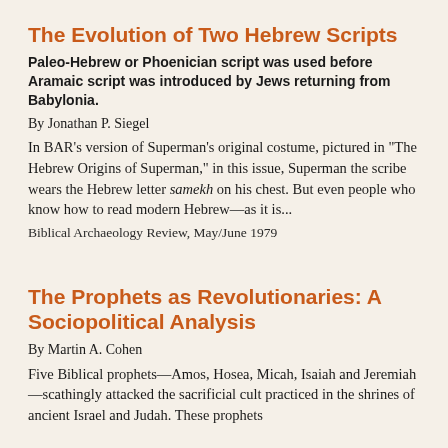The Evolution of Two Hebrew Scripts
Paleo-Hebrew or Phoenician script was used before Aramaic script was introduced by Jews returning from Babylonia.
By Jonathan P. Siegel
In BAR’s version of Superman’s original costume, pictured in “The Hebrew Origins of Superman,” in this issue, Superman the scribe wears the Hebrew letter samekh on his chest. But even people who know how to read modern Hebrew—as it is...
Biblical Archaeology Review, May/June 1979
The Prophets as Revolutionaries: A Sociopolitical Analysis
By Martin A. Cohen
Five Biblical prophets—Amos, Hosea, Micah, Isaiah and Jeremiah—scathingly attacked the sacrificial cult practiced in the shrines of ancient Israel and Judah. These prophets